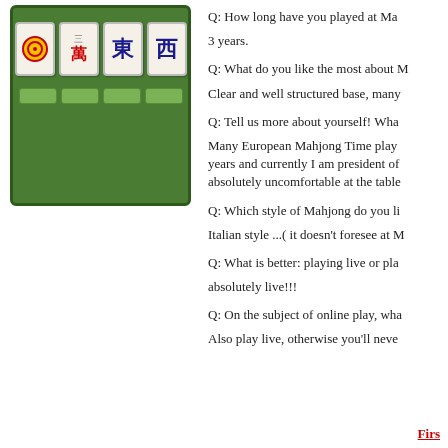[Figure (screenshot): Mahjong game screenshot showing four tiles (circle/dot tile, Chinese character tile with red '三萬', East wind tile '東', West wind tile '西') on a green background with tile buttons below.]
Q: How long have you played at Ma
3 years.
Q: What do you like the most about M
Clear and well structured base, many
Q: Tell us more about yourself! Wha
Many European Mahjong Time play years and currently I am president of absolutely uncomfortable at the table
Q: Which style of Mahjong do you li
Italian style ...( it doesn't foresee at M
Q: What is better: playing live or pla
absolutely live!!!
Q: On the subject of online play, wha
Also play live, otherwise you'll neve
Firs